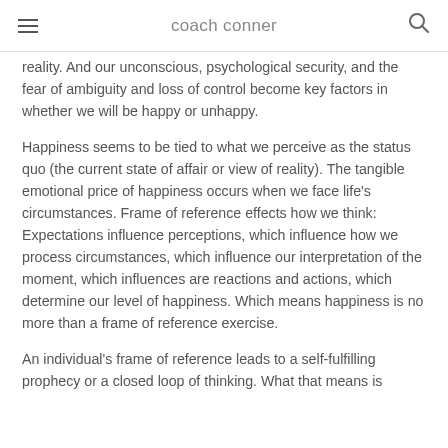coach conner
reality. And our unconscious, psychological security, and the fear of ambiguity and loss of control become key factors in whether we will be happy or unhappy.
Happiness seems to be tied to what we perceive as the status quo (the current state of affair or view of reality). The tangible emotional price of happiness occurs when we face life's circumstances. Frame of reference effects how we think: Expectations influence perceptions, which influence how we process circumstances, which influence our interpretation of the moment, which influences are reactions and actions, which determine our level of happiness. Which means happiness is no more than a frame of reference exercise.
An individual's frame of reference leads to a self-fulfilling prophecy or a closed loop of thinking. What that means is